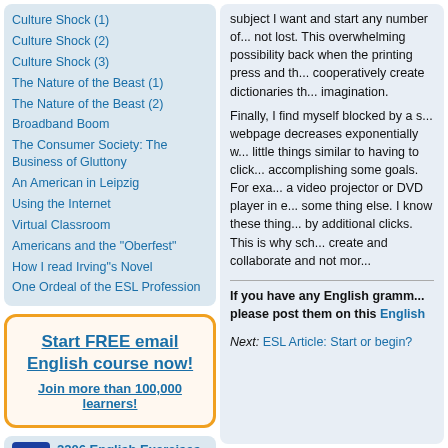Culture Shock (1)
Culture Shock (2)
Culture Shock (3)
The Nature of the Beast (1)
The Nature of the Beast (2)
Broadband Boom
The Consumer Society: The Business of Gluttony
An American in Leipzig
Using the Internet
Virtual Classroom
Americans and the "Oberfest"
How I read Irving"s Novel
One Ordeal of the ESL Profession
Start FREE email English course now! Join more than 100,000 learners!
2206 English Exercises
This English grammar test package
subject I want and start any number of... not lost. This overwhelming possibility back when the printing press and th... cooperatively create dictionaries th... imagination.
Finally, I find myself blocked by a s... webpage decreases exponentially w... little things similar to having to click... accomplishing some goals. For exa... a video projector or DVD player in e... some thing else. I know these thing... by additional clicks. This is why sch... create and collaborate and not mor...
If you have any English grammar... please post them on this English...
Next: ESL Article: Start or begin?